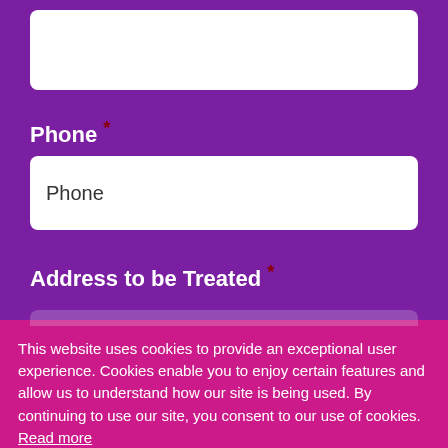[Figure (screenshot): Web form on purple background showing Phone field with input box containing placeholder text 'Phone', and Address to be Treated label with required asterisk. A pink cookie consent banner overlays the lower portion with text about cookie usage and Decline/Accept Cookies buttons. Partial view of location input with 'Enter a location' placeholder and City input field visible at bottom.]
Phone *
Phone
Address to be Treated *
Enter a location
This website uses cookies to provide an exceptional user experience. Cookies enable you to enjoy certain features and allow us to understand how our site is being used. By continuing to use our site, you consent to our use of cookies. Read more
Decline
Accept Cookies
City